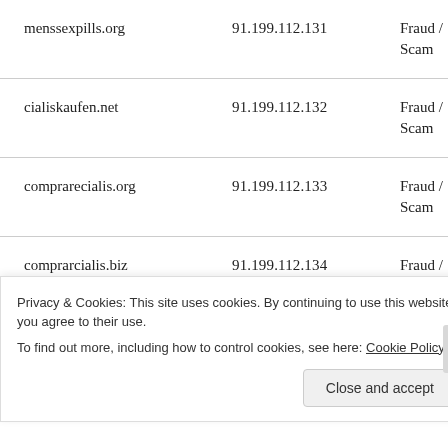| Domain | IP | Category |
| --- | --- | --- |
| menssexpills.org | 91.199.112.131 | Fraud / Scam |
| cialiskaufen.net | 91.199.112.132 | Fraud / Scam |
| comprarecialis.org | 91.199.112.133 | Fraud / Scam |
| comprarcialis.biz | 91.199.112.134 | Fraud / Scam |
| generic-cialis.in | 91.199.112.139 | Fraud / |
Privacy & Cookies: This site uses cookies. By continuing to use this website, you agree to their use. To find out more, including how to control cookies, see here: Cookie Policy